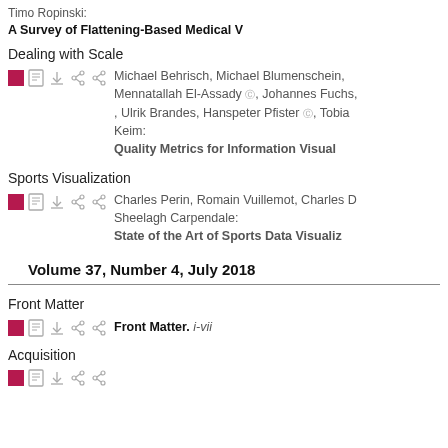Timo Ropinski: A Survey of Flattening-Based Medical V...
Dealing with Scale
Michael Behrisch, Michael Blumenschein, Mennatallah El-Assady, Johannes Fuchs, Ulrik Brandes, Hanspeter Pfister, Tobia Keim: Quality Metrics for Information Visual...
Sports Visualization
Charles Perin, Romain Vuillemot, Charles D... Sheelagh Carpendale: State of the Art of Sports Data Visualiz...
Volume 37, Number 4, July 2018
Front Matter
Front Matter. i-vii
Acquisition